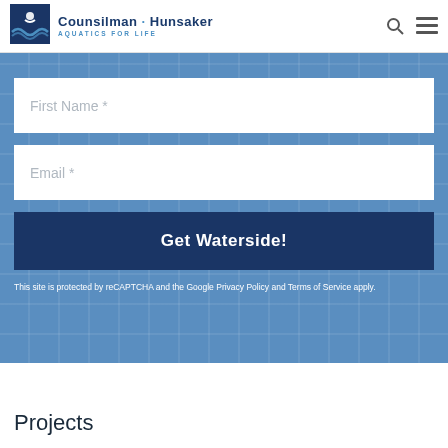[Figure (logo): Counsilman-Hunsaker Aquatics for Life logo with blue wave/swimmer icon]
First Name *
Email *
Get Waterside!
This site is protected by reCAPTCHA and the Google Privacy Policy and Terms of Service apply.
Projects